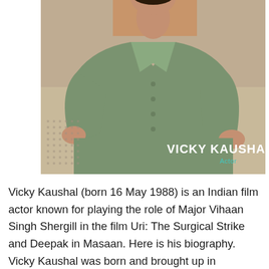[Figure (photo): Photo of Vicky Kaushal, a man wearing a light olive/sage green short-sleeve button-up shirt, standing against a beige/tan textured wall. The lower right of the image has white text reading 'VICKY KAUSHAL' and below it in cyan/teal 'Actor'. There is also a decorative dotted pattern graphic on the lower left.]
Vicky Kaushal (born 16 May 1988) is an Indian film actor known for playing the role of Major Vihaan Singh Shergill in the film Uri: The Surgical Strike and Deepak in Masaan. Here is his biography. Vicky Kaushal was born and brought up in Mumbai, Maharashtra, India. He went to